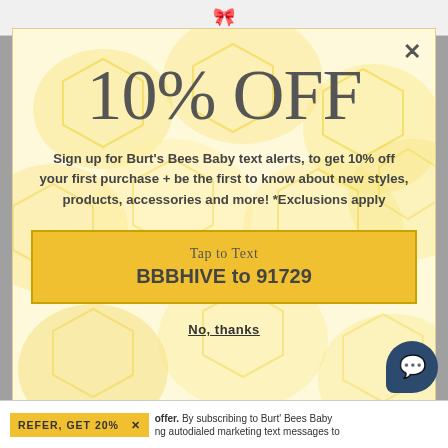10% OFF
Sign up for Burt's Bees Baby text alerts, to get 10% off your first purchase + be the first to know about new styles, products, accessories and more! *Exclusions apply
Tap to Text
BBBHIVE to 91729
No, thanks
REFER, GET 20%
offer. By subscribing to Burt' Bees Baby ing autodialed marketing text messages to